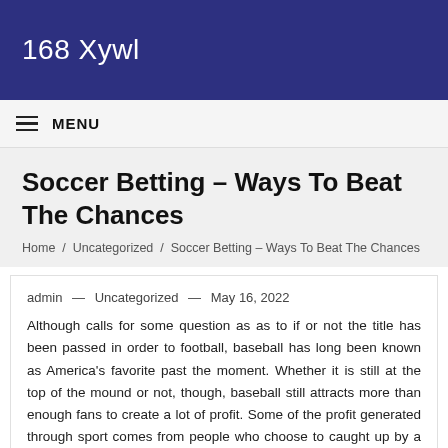168 Xywl
MENU
Soccer Betting – Ways To Beat The Chances
Home / Uncategorized / Soccer Betting – Ways To Beat The Chances
admin — Uncategorized — May 16, 2022
Although calls for some question as as to if or not the title has been passed in order to football, baseball has long been known as America's favorite past the moment. Whether it is still at the top of the mound or not, though, baseball still attracts more than enough fans to create a lot of profit. Some of the profit generated through sport comes from people who choose to caught up by a minute of baseball betting, come up with the game itself quite more fun or just to try advertise some money at points know preferred. In this article,